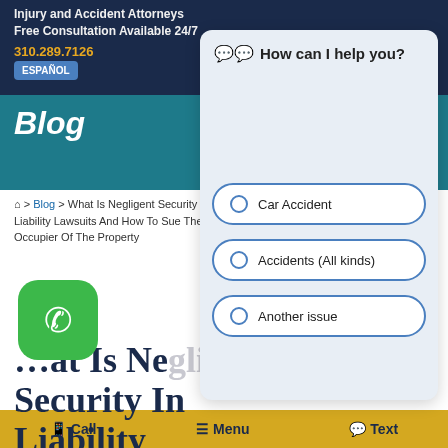Injury and Accident Attorneys
Free Consultation Available 24/7
310.289.7126  ESPANOL
Blog
🏠 > Blog > What Is Negligent Security In Premises Liability Lawsuits And How To Sue The Owner Or Occupier Of The Property
[Figure (screenshot): Chat widget overlay with question 'How can I help you?' and three radio button options: Car Accident, Accidents (All kinds), Another issue]
[Figure (other): Green phone FAB button]
[Figure (other): Gray video play button]
What Is Negligent Security In Liability La...
📱 Call   ☰ Menu   💬 Text